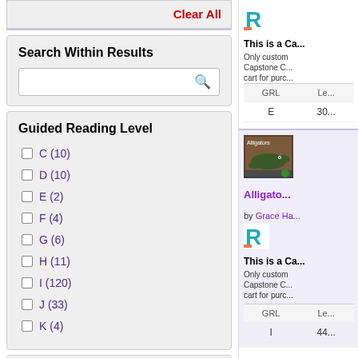Clear All
Search Within Results
Guided Reading Level
C (10)
D (10)
E (2)
F (4)
G (6)
H (11)
I (120)
J (33)
K (4)
Copyright
[Figure (screenshot): Book listing with R logo, title 'This is a Ca...', description about Capstone C, GRL table showing E and 30]
[Figure (screenshot): Book listing for Alligators with cover image, author Grace H, R logo, Capstone description, GRL table showing I and 44]